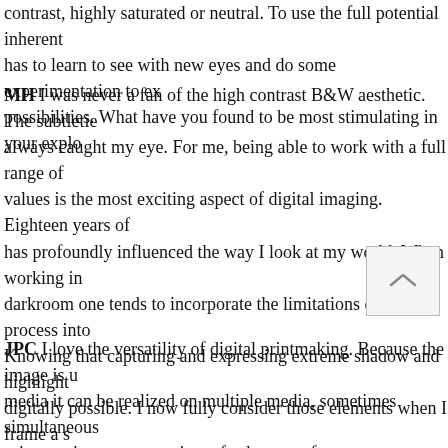contrast, highly saturated or neutral. To use the full potential inherent has to learn to see with new eyes and do some experimentation to ex possibilities. What have you found to be most stimulating in your explo
MH I was never a fan of the high contrast B&W aesthetic. The subtletie always caught my eye. For me, being able to work with a full range of values is the most exciting aspect of digital imaging. Eighteen years of has profoundly influenced the way I look at my world. When working in darkroom one tends to incorporate the limitations of the process into Knowing that capturing and expressing extreme shadow and highlight digitally possible. I now fully consider those elements when I frame a s of possibilities has increased and that has expanded my vision. High dy image and infinite focus capture will further enhance our vision.
JPC I love the versatility of digital printmaking. Because the image is u media it can be realized on multiple media, sometimes simultaneous print any image on a variety of substrates, from canvas to rice paper t